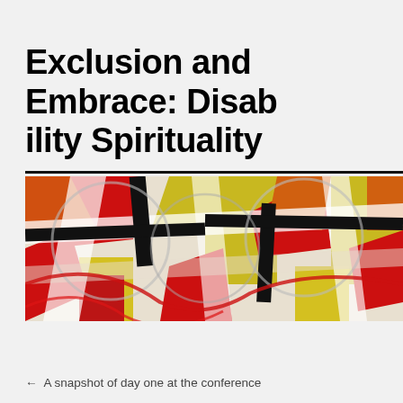Exclusion and Embrace: Disability Spirituality
[Figure (illustration): Abstract expressionist painting with bold shapes and colors — red, orange, yellow, black, and white geometric and curved forms overlapping in a dynamic composition. Below the painting is a dark navigation bar.]
← A snapshot of day one at the conference